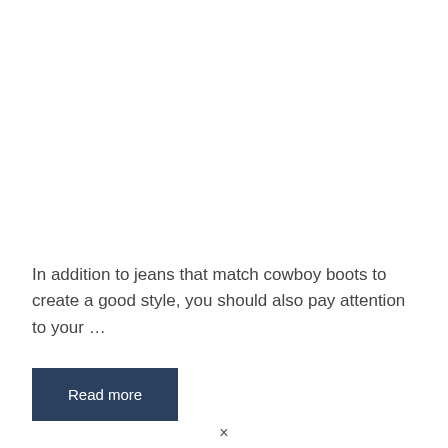In addition to jeans that match cowboy boots to create a good style, you should also pay attention to your …
Read more
×